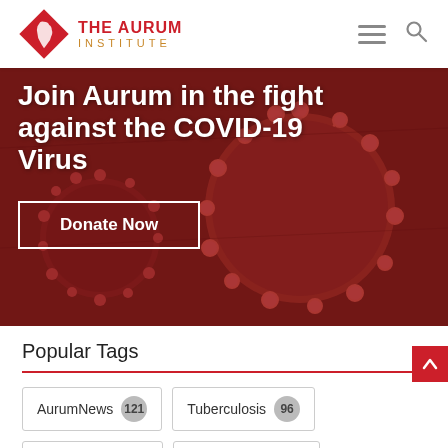[Figure (logo): The Aurum Institute logo — red diamond shape with Africa silhouette, text THE AURUM INSTITUTE]
[Figure (photo): Hero banner with dark red COVID-19 coronavirus particle microscopy image. Bold white text overlay reads: Join Aurum in the fight against the COVID-19 Virus. White-bordered button: Donate Now]
Popular Tags
AurumNews 121
Tuberculosis 96
International 71
Public Health 64
COVID-19 56
Clinical Research 50